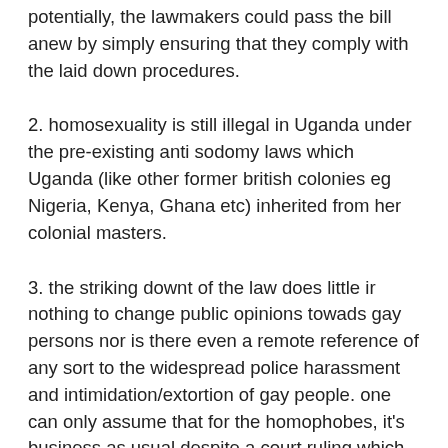potentially, the lawmakers could pass the bill anew by simply ensuring that they comply with the laid down procedures.
2. homosexuality is still illegal in Uganda under the pre-existing anti sodomy laws which Uganda (like other former british colonies eg Nigeria, Kenya, Ghana etc) inherited from her colonial masters.
3. the striking downt of the law does little ir nothing to change public opinions towads gay persons nor is there even a remote reference of any sort to the widespread police harassment and intimidation/extortion of gay people. one can only assume that for the homophobes, it's business as usual despite a court ruling which is